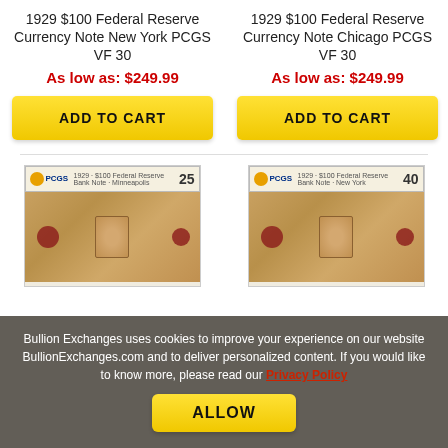1929 $100 Federal Reserve Currency Note New York PCGS VF 30
As low as: $249.99
1929 $100 Federal Reserve Currency Note Chicago PCGS VF 30
As low as: $249.99
[Figure (photo): PCGS graded 1929 $100 Federal Reserve currency note, Minneapolis, grade 25]
[Figure (photo): PCGS graded 1929 $100 Federal Reserve currency note, grade 40]
Bullion Exchanges uses cookies to improve your experience on our website BullionExchanges.com and to deliver personalized content. If you would like to know more, please read our Privacy Policy